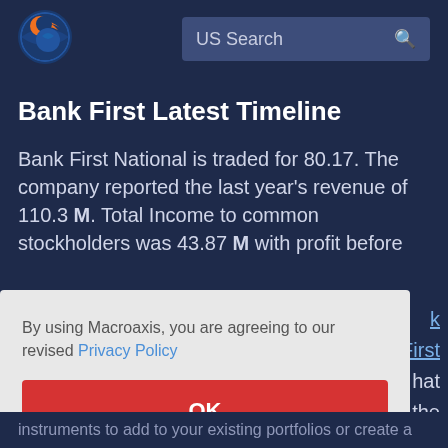[Figure (logo): Macroaxis globe logo — orange and blue circular icon]
US Search
Bank First Latest Timeline
Bank First National is traded for 80.17. The company reported the last year's revenue of 110.3 M. Total Income to common stockholders was 43.87 M with profit before
By using Macroaxis, you are agreeing to our revised Privacy Policy
OK
k First hat the ould be First's equity
instruments to add to your existing portfolios or create a